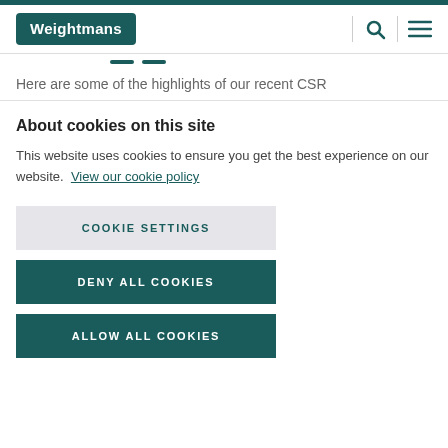Weightmans
Here are some of the highlights of our recent CSR
About cookies on this site
This website uses cookies to ensure you get the best experience on our website. View our cookie policy
COOKIE SETTINGS
DENY ALL COOKIES
ALLOW ALL COOKIES